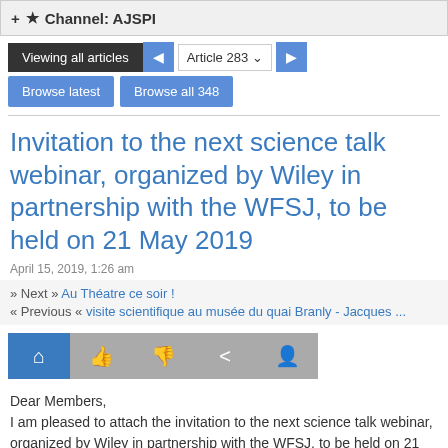+ ★ Channel: AJSPI
Viewing all articles | Article 283 ▾ | Browse latest | Browse all 348
Invitation to the next science talk webinar, organized by Wiley in partnership with the WFSJ, to be held on 21 May 2019
April 15, 2019, 1:26 am
» Next » Au Théatre ce soir ! « Previous « visite scientifique au musée du quai Branly - Jacques ...
Dear Members,
I am pleased to attach the invitation to the next science talk webinar, organized by Wiley in partnership with the WFSJ, to be held on 21